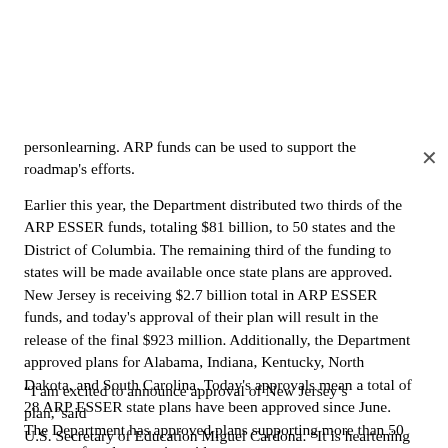personlearning. ARP funds can be used to support the roadmap's efforts.
Earlier this year, the Department distributed two thirds of the ARP ESSER funds, totaling $81 billion, to 50 states and the District of Columbia. The remaining third of the funding to states will be made available once state plans are approved. New Jersey is receiving $2.7 billion total in ARP ESSER funds, and today's approval of their plan will result in the release of the final $923 million. Additionally, the Department approved plans for Alabama, Indiana, Kentucky, North Dakota, and South Carolina. Today's approvals mean a total of 28 ARP ESSER state plans have been approved since June. The Department has approved plans supporting more than 50 percent of students nationwide.
“I am excited to announce approval of New Jersey’s plan,”said U.S. Secretary of Education Miguel Cardona. “It is heartening to